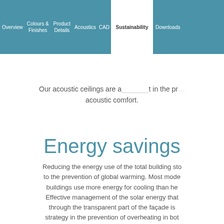Overview | Colours & Finishes | Product Details | Acoustics | CAD | Sustainability | Downloads
Our acoustic ceilings are a… in the pr… acoustic comfort.
Energy savings
Reducing the energy use of the total building sto… to the prevention of global warming. Most mode… buildings use more energy for cooling than he… Effective management of the solar energy that… through the transparent part of the façade is… strategy in the prevention of overheating in bot…